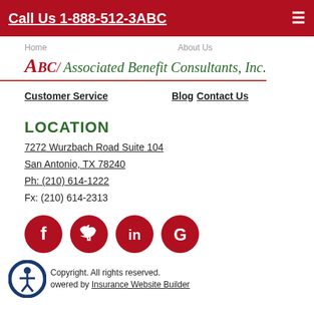Call Us 1-888-512-3ABC
[Figure (logo): ABC / Associated Benefit Consultants, Inc. logo with decorative red A initial and green text]
Home
About Us
Customer Service
Blog
Contact Us
LOCATION
7272 Wurzbach Road Suite 104
San Antonio, TX 78240
Ph: (210) 614-1222
Fx: (210) 614-2313
[Figure (infographic): Social media icons: Facebook (f), Twitter (bird), LinkedIn (in), Google (G) — all in red circles]
Copyright. All rights reserved. Powered by Insurance Website Builder